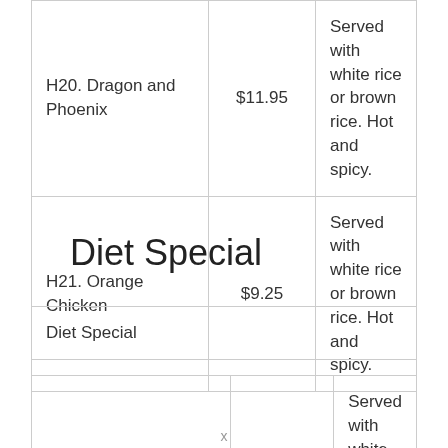| Item | Price | Description |
| --- | --- | --- |
| H20. Dragon and Phoenix | $11.95 | Served with white rice or brown rice. Hot and spicy. |
| H21. Orange Chicken | $9.25 | Served with white rice or brown rice. Hot and spicy. |
Diet Special
| Diet Special |
| --- |
| Item | Price | Description |
| --- | --- | --- |
| D1. Steam Broccoli | $8.95 | Served with white rice or brown rice. |
x